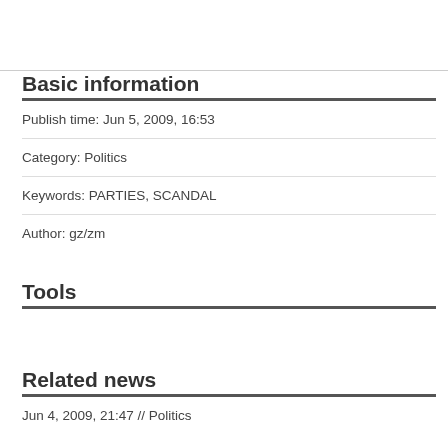Basic information
Publish time: Jun 5, 2009, 16:53
Category: Politics
Keywords: PARTIES, SCANDAL
Author: gz/zm
Tools
Related news
Jun 4, 2009, 21:47 // Politics